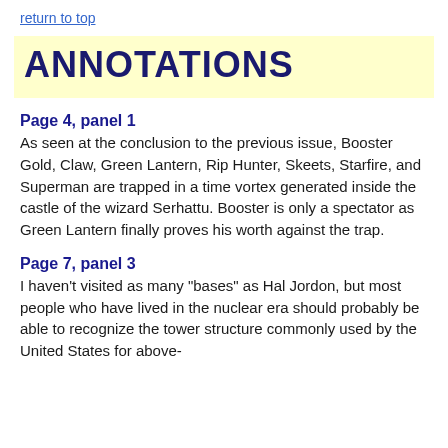return to top
ANNOTATIONS
Page 4, panel 1
As seen at the conclusion to the previous issue, Booster Gold, Claw, Green Lantern, Rip Hunter, Skeets, Starfire, and Superman are trapped in a time vortex generated inside the castle of the wizard Serhattu. Booster is only a spectator as Green Lantern finally proves his worth against the trap.
Page 7, panel 3
I haven't visited as many "bases" as Hal Jordon, but most people who have lived in the nuclear era should probably be able to recognize the tower structure commonly used by the United States for above-